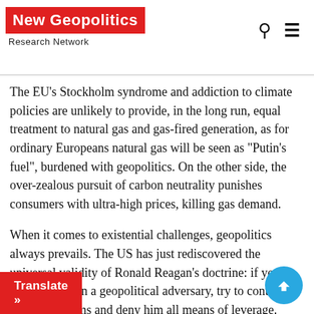New Geopolitics Research Network
The EU’s Stockholm syndrome and addiction to climate policies are unlikely to provide, in the long run, equal treatment to natural gas and gas-fired generation, as for ordinary Europeans natural gas will be seen as “Putin’s fuel”, burdened with geopolitics. On the other side, the over-zealous pursuit of carbon neutrality punishes consumers with ultra-high prices, killing gas demand.
When it comes to existential challenges, geopolitics always prevails. The US has just rediscovered the universal validity of Ronald Reagan’s doctrine: if you want to contain a geopolitical adversary, try to control his revenue streams and deny him all means of leverage.